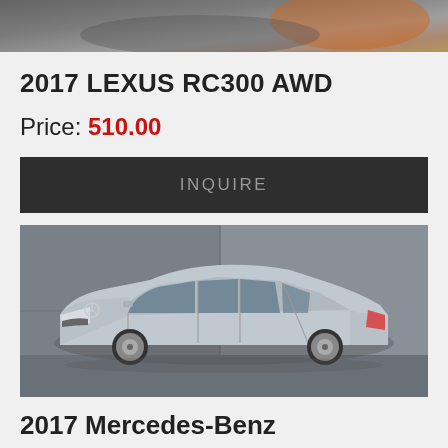[Figure (photo): Partial top of a blurred car photo, appears to be an orange/red sports car cropped at the top]
2017 LEXUS RC300 AWD
Price: 510.00
INQUIRE
[Figure (photo): Silver 2017 Mercedes-Benz C-Class sedan parked in front of a concrete wall, three-quarter front view]
2017 Mercedes-Benz C-Class